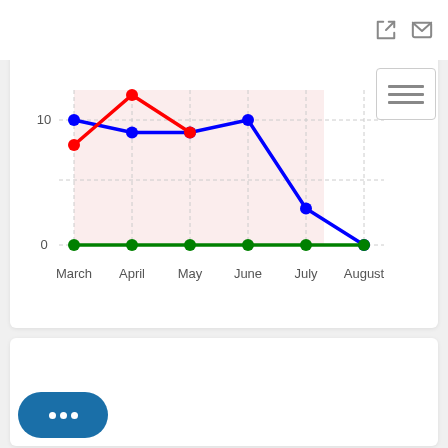[Figure (line-chart): ]
[Figure (other): Chat/messaging button (teal rounded pill with three dots)]